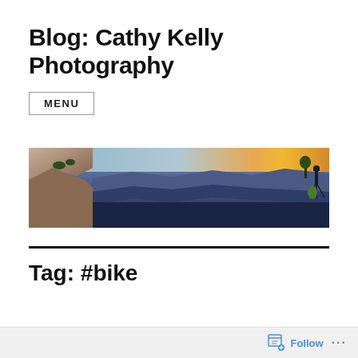Blog: Cathy Kelly Photography
MENU
[Figure (photo): Panoramic photograph of the Grand Canyon at sunset/sunrise, showing canyon cliffs on the left, vast canyon landscape in the middle with purple-blue hues, and a person with a tripod silhouetted on the right against an orange-yellow horizon sky.]
Tag: #bike
Follow ...